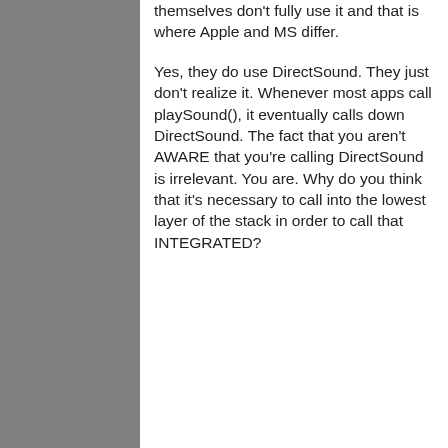themselves don't fully use it and that is where Apple and MS differ.
Yes, they do use DirectSound. They just don't realize it. Whenever most apps call playSound(), it eventually calls down DirectSound. The fact that you aren't AWARE that you're calling DirectSound is irrelevant. You are. Why do you think that it's necessary to call into the lowest layer of the stack in order to call that INTEGRATED?